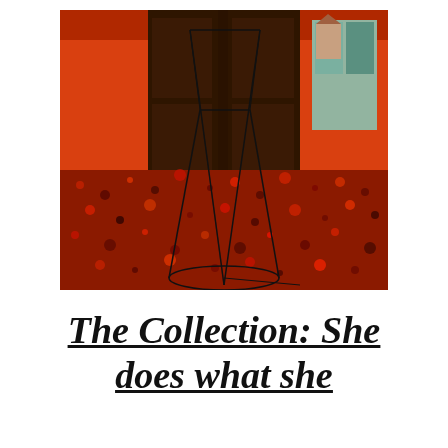[Figure (photo): Indoor gallery photo showing a geometric wire sculpture on a red terrazzo floor. The sculpture consists of thin black metal rods forming an angular abstract shape. The background shows orange-red walls with dark wooden doorways and a hint of outdoor scenery visible through a window.]
The Collection: She does what she